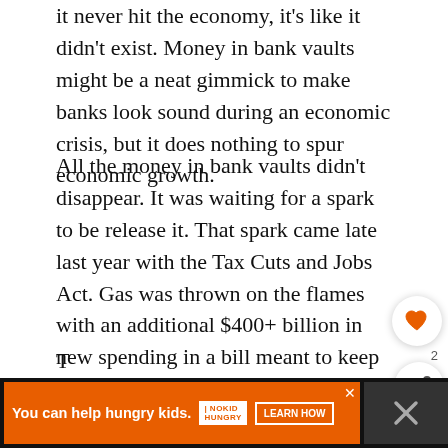it never hit the economy, it's like it didn't exist. Money in bank vaults might be a neat gimmick to make banks look sound during an economic crisis, but it does nothing to spur economic growth.
All the money in bank vaults didn't disappear. It was waiting for a spark to be release it. That spark came late last year with the Tax Cuts and Jobs Act. Gas was thrown on the flames with an additional $400+ billion in new spending in a bill meant to keep the government open.
To Infinity and Beyond